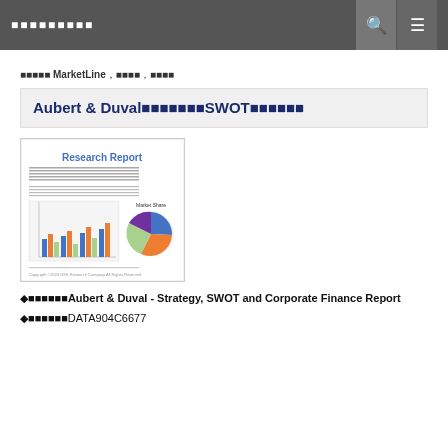■■■■■■■■■
■■■■■ MarketLine, ■■■■, ■■■■
Aubert & Duval■■■■■■■SWOT■■■■■■
[Figure (illustration): Research Report cover image showing a bar chart and pie chart]
◆■■■■■■Aubert & Duval - Strategy, SWOT and Corporate Finance Report
◆■■■■■■DATA904C6677